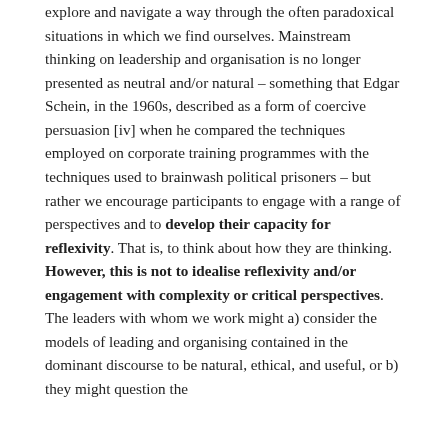explore and navigate a way through the often paradoxical situations in which we find ourselves. Mainstream thinking on leadership and organisation is no longer presented as neutral and/or natural – something that Edgar Schein, in the 1960s, described as a form of coercive persuasion [iv] when he compared the techniques employed on corporate training programmes with the techniques used to brainwash political prisoners – but rather we encourage participants to engage with a range of perspectives and to develop their capacity for reflexivity. That is, to think about how they are thinking. However, this is not to idealise reflexivity and/or engagement with complexity or critical perspectives. The leaders with whom we work might a) consider the models of leading and organising contained in the dominant discourse to be natural, ethical, and useful, or b) they might question the